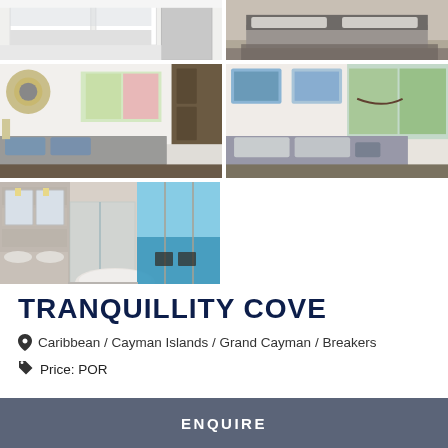[Figure (photo): Interior photo collage: kitchen/living area, bedroom, two more bedrooms, and a luxury bathroom with ocean view]
TRANQUILLITY COVE
Caribbean / Cayman Islands / Grand Cayman / Breakers
Price: POR
ENQUIRE